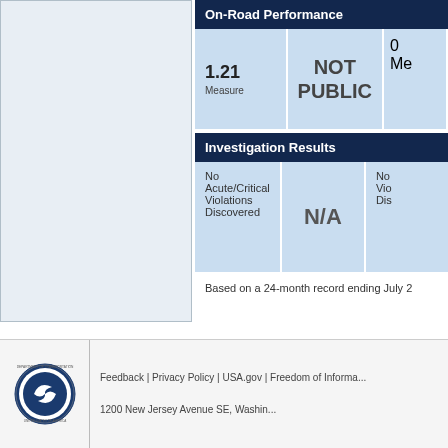On-Road Performance
| Measure |  | Measure |
| --- | --- | --- |
| 1.21
Measure | NOT PUBLIC | 0
Me |
Investigation Results
|  |  |  |
| --- | --- | --- |
| No Acute/Critical Violations Discovered | N/A | No Vio Dis |
Based on a 24-month record ending July 2
Feedback | Privacy Policy | USA.gov | Freedom of Informa...
1200 New Jersey Avenue SE, Washin...